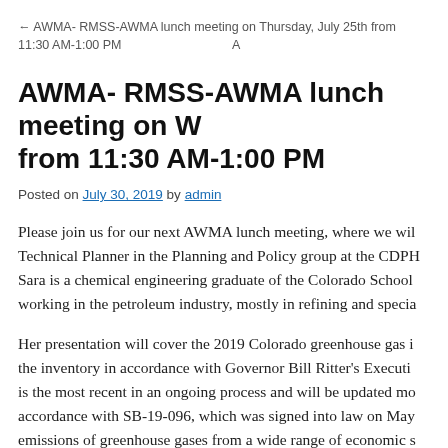← AWMA- RMSS-AWMA lunch meeting on Thursday, July 25th from 11:30 AM-1:00 PM   A
AWMA- RMSS-AWMA lunch meeting on W... from 11:30 AM-1:00 PM
Posted on July 30, 2019 by admin
Please join us for our next AWMA lunch meeting, where we wil... Technical Planner in the Planning and Policy group at the CDPH... Sara is a chemical engineering graduate of the Colorado School... working in the petroleum industry, mostly in refining and specia...
Her presentation will cover the 2019 Colorado greenhouse gas i... the inventory in accordance with Governor Bill Ritter's Executi... is the most recent in an ongoing process and will be updated mo... accordance with SB-19-096, which was signed into law on May... emissions of greenhouse gases from a wide range of economic s... for the years 1990 through 2015. The inventory also includes a... through 2030.